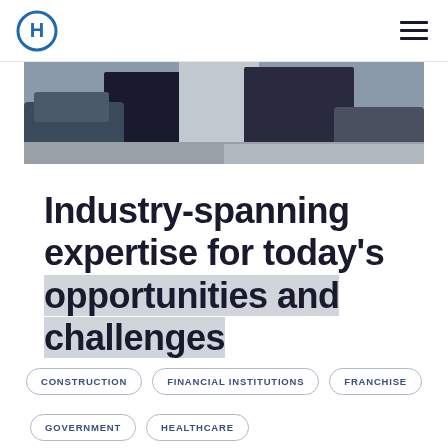H logo / navigation header
[Figure (photo): Partial view of people in business attire with cars and street in background]
Industry-spanning expertise for today's opportunities and challenges
CONSTRUCTION
FINANCIAL INSTITUTIONS
FRANCHISE
GOVERNMENT
HEALTHCARE